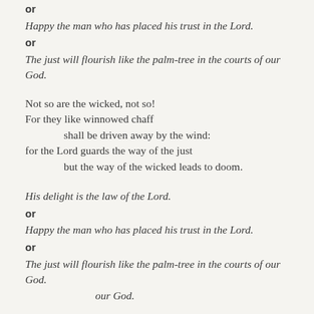or
Happy the man who has placed his trust in the Lord.
or
The just will flourish like the palm-tree in the courts of our God.
Not so are the wicked, not so!
For they like winnowed chaff
    shall be driven away by the wind:
for the Lord guards the way of the just
    but the way of the wicked leads to doom.
His delight is the law of the Lord.
or
Happy the man who has placed his trust in the Lord.
or
The just will flourish like the palm-tree in the courts of our God.